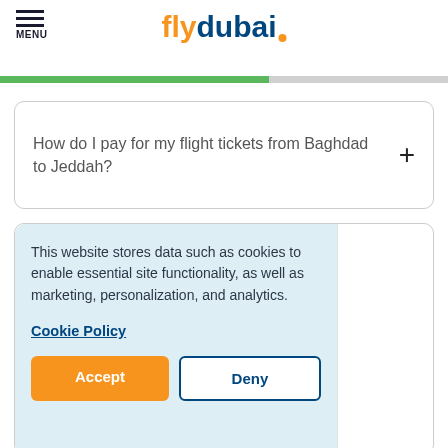flydubai
How do I pay for my flight tickets from Baghdad to Jeddah?
This website stores data such as cookies to enable essential site functionality, as well as marketing, personalization, and analytics.
Cookie Policy
Accept
Deny
Flights from Baghdad to Cassim